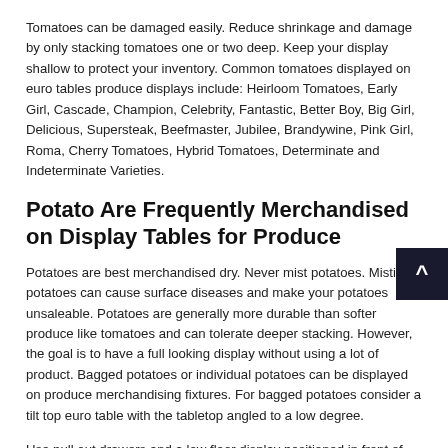Tomatoes can be damaged easily. Reduce shrinkage and damage by only stacking tomatoes one or two deep. Keep your display shallow to protect your inventory. Common tomatoes displayed on euro tables produce displays include: Heirloom Tomatoes, Early Girl, Cascade, Champion, Celebrity, Fantastic, Better Boy, Big Girl, Delicious, Supersteak, Beefmaster, Jubilee, Brandywine, Pink Girl, Roma, Cherry Tomatoes, Hybrid Tomatoes, Determinate and Indeterminate Varieties.
Potato Are Frequently Merchandised on Display Tables for Produce
Potatoes are best merchandised dry. Never mist potatoes. Misting potatoes can cause surface diseases and make your potatoes unsaleable. Potatoes are generally more durable than softer produce like tomatoes and can tolerate deeper stacking. However, the goal is to have a full looking display without using a lot of product. Bagged potatoes or individual potatoes can be displayed on produce merchandising fixtures. For bagged potatoes consider a tilt top euro table with the tabletop angled to a low degree.
Use pull out drawers and a low floor display positioned in front of the euro table to create a simulated overflowing produce display that actually is only one or two bags deep. These are some...